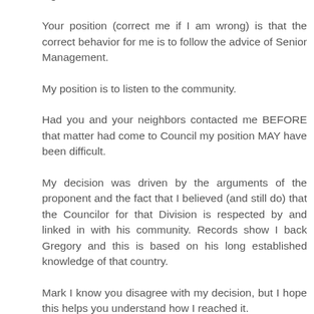legitimate to do this.
Your position (correct me if I am wrong) is that the correct behavior for me is to follow the advice of Senior Management.
My position is to listen to the community.
Had you and your neighbors contacted me BEFORE that matter had come to Council my position MAY have been difficult.
My decision was driven by the arguments of the proponent and the fact that I believed (and still do) that the Councilor for that Division is respected by and linked in with his community. Records show I back Gregory and this is based on his long established knowledge of that country.
Mark I know you disagree with my decision, but I hope this helps you understand how I reached it.
Yours Sincerely,